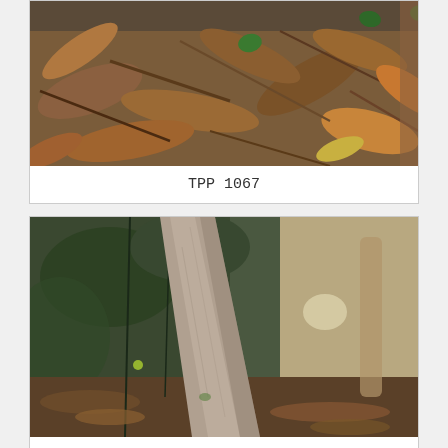[Figure (photo): Close-up photograph of forest floor showing dry brown fallen leaves, small sticks and twigs, and two small green leaves visible among the leaf litter.]
TPP 1067
[Figure (photo): Photograph of a smooth pale grey-brown tree trunk or stem leaning diagonally, with forest undergrowth and leaf litter visible in the background.]
TPP 1067